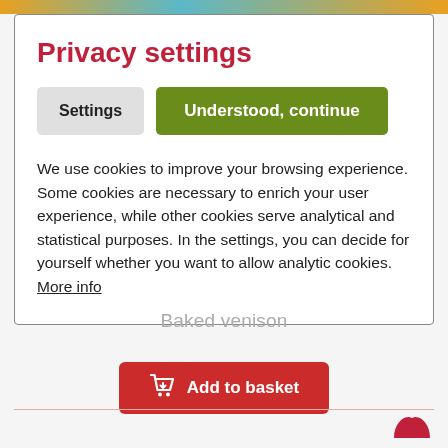[Figure (screenshot): Top image strip with orange and teal colors]
Privacy settings
Settings | Understood, continue (buttons)
We use cookies to improve your browsing experience. Some cookies are necessary to enrich your user experience, while other cookies serve analytical and statistical purposes. In the settings, you can decide for yourself whether you want to allow analytic cookies. More info
Baked venison
Add to basket